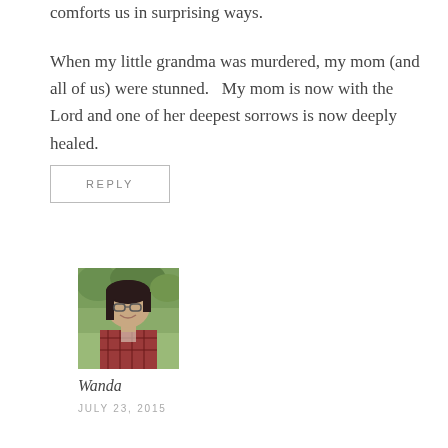comforts us in surprising ways.
When my little grandma was murdered, my mom (and all of us) were stunned.   My mom is now with the Lord and one of her deepest sorrows is now deeply healed.
REPLY
[Figure (photo): Profile photo of a woman with dark hair and glasses, wearing a plaid shirt, outdoors with green trees in background]
Wanda
JULY 23, 2015